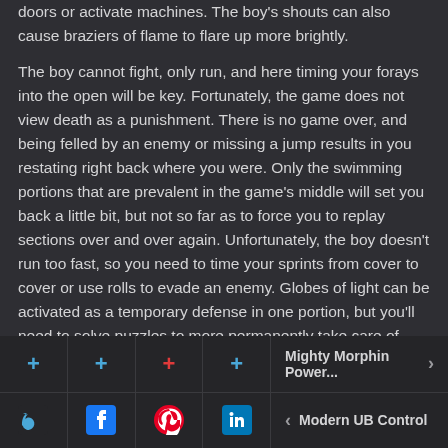doors or activate machines. The boy's shouts can also cause braziers of flame to flare up more brightly.
The boy cannot fight, only run, and here timing your forays into the open will be key. Fortunately, the game does not view death as a punishment. There is no game over, and being felled by an enemy or missing a jump results in you restating right back where you were. Only the swimming portions that are prevalent in the game's middle will set you back a little bit, but not so far as to force you to replay sections over and over again. Unfortunately, the boy doesn't run too fast, so you need to time your sprints from cover to cover or use rolls to evade an enemy. Globes of light can be activated as a temporary defense in one portion, but you'll need to solve puzzles to more permanently take care of foes. Being caught can be a nuisance, especially when you're trying to figure out where to
Mighty Morphin Power... | Modern UB Control